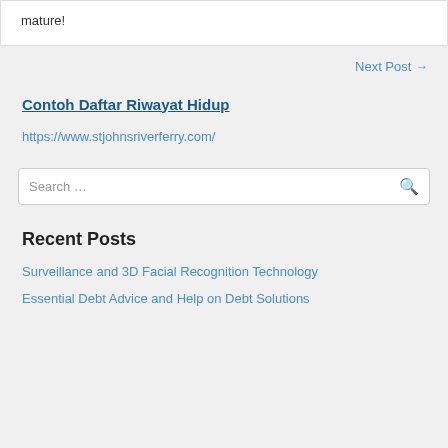mature!
Next Post →
Contoh Daftar Riwayat Hidup
https://www.stjohnsriverferry.com/
Search …
Recent Posts
Surveillance and 3D Facial Recognition Technology
Essential Debt Advice and Help on Debt Solutions